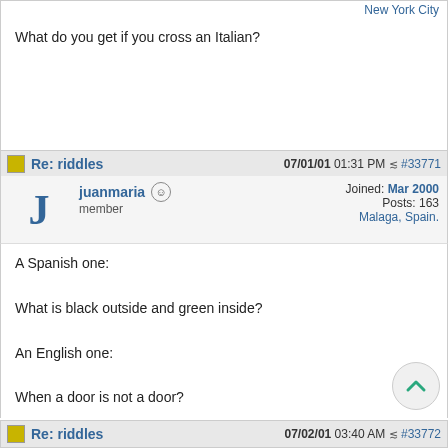New York City
What do you get if you cross an Italian?
Re: riddles  07/01/01 01:31 PM  #33771
juanmaria  member  Joined: Mar 2000  Posts: 163  Malaga, Spain.
A Spanish one:

What is black outside and green inside?

An English one:

When a door is not a door?
Re: riddles  07/02/01 03:40 AM  #33772